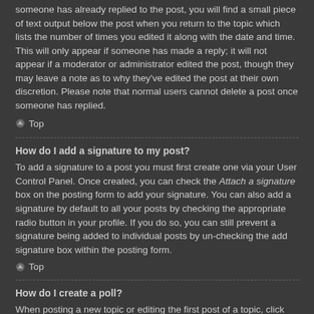someone has already replied to the post, you will find a small piece of text output below the post when you return to the topic which lists the number of times you edited it along with the date and time. This will only appear if someone has made a reply; it will not appear if a moderator or administrator edited the post, though they may leave a note as to why they've edited the post at their own discretion. Please note that normal users cannot delete a post once someone has replied.
Top
How do I add a signature to my post?
To add a signature to a post you must first create one via your User Control Panel. Once created, you can check the Attach a signature box on the posting form to add your signature. You can also add a signature by default to all your posts by checking the appropriate radio button in your profile. If you do so, you can still prevent a signature being added to individual posts by un-checking the add signature box within the posting form.
Top
How do I create a poll?
When posting a new topic or editing the first post of a topic, click the “Poll creation” tab below the main posting form; if you cannot see this, you do not have appropriate permissions to create polls. Enter a title and at least two options in the appropriate fields, making sure each option is on a separate line in the textarea. You can also set the number of options users may select during voting under “Options per user”, a time limit in days for the poll (0 for infinite duration) and lastly the option to allow users to amend their votes.